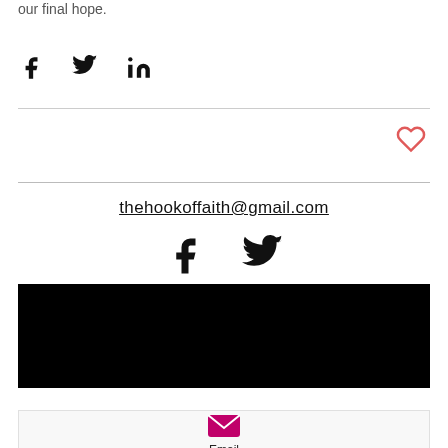our final hope.
[Figure (other): Social share icons: Facebook, Twitter, LinkedIn]
[Figure (other): Heart/like icon (outline, red/coral color)]
thehookoffaith@gmail.com
[Figure (other): Footer social icons: Facebook and Twitter]
[Figure (other): Black banner/image bar]
[Figure (other): Email call-to-action box with email icon and label 'Email']